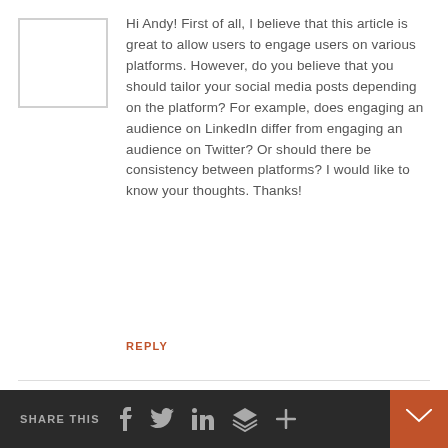[Figure (other): User avatar placeholder — white square with grey border]
Hi Andy! First of all, I believe that this article is great to allow users to engage users on various platforms. However, do you believe that you should tailor your social media posts depending on the platform? For example, does engaging an audience on LinkedIn differ from engaging an audience on Twitter? Or should there be consistency between platforms? I would like to know your thoughts. Thanks!
REPLY
SHARE THIS